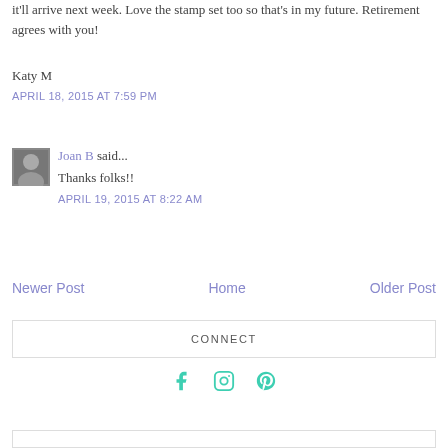it'll arrive next week. Love the stamp set too so that's in my future. Retirement agrees with you!
Katy M
APRIL 18, 2015 AT 7:59 PM
Joan B said...
Thanks folks!!
APRIL 19, 2015 AT 8:22 AM
Post a Comment
Newer Post
Home
Older Post
CONNECT
[Figure (infographic): Social media icons: Facebook, Instagram, Pinterest in teal/turquoise color]